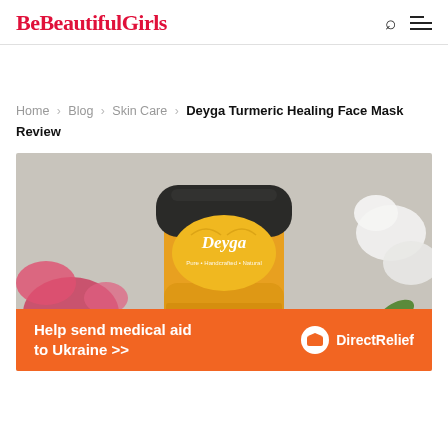BeBeautifulGirls
Home > Blog > Skin Care > Deyga Turmeric Healing Face Mask Review
[Figure (photo): A jar of Deyga turmeric healing face mask with a yellow label, surrounded by pink and white flowers and green leaves on a light background.]
Help send medical aid to Ukraine >> Direct Relief